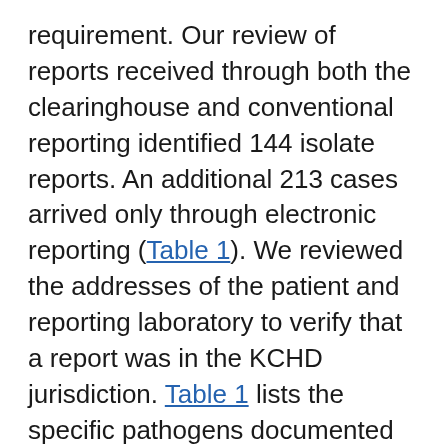requirement. Our review of reports received through both the clearinghouse and conventional reporting identified 144 isolate reports. An additional 213 cases arrived only through electronic reporting (Table 1). We reviewed the addresses of the patient and reporting laboratory to verify that a report was in the KCHD jurisdiction. Table 1 lists the specific pathogens documented through this system and the average improvement in timeliness for each pathogen. Timeliness improved for all pathogens; the improvements for chlamydia, invasive group A streptococcal infections, and salmonellosis cases were statistically significant (Table 1). One chlamydia case arrived 20 days earlier through clearinghouse reports.
Many case reports were only received through electronic reporting (Table 1). In particular, giardiasis